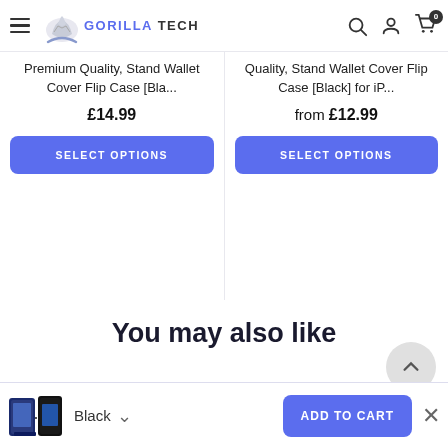Gorilla Tech - navigation header with hamburger menu, logo, search, account and cart icons
Premium Quality, Stand Wallet Cover Flip Case [Bla...
£14.99
SELECT OPTIONS
Quality, Stand Wallet Cover Flip Case [Black] for iP...
from £12.99
SELECT OPTIONS
You may also like
Strong advanced magnetic closure locking
Black
ADD TO CART